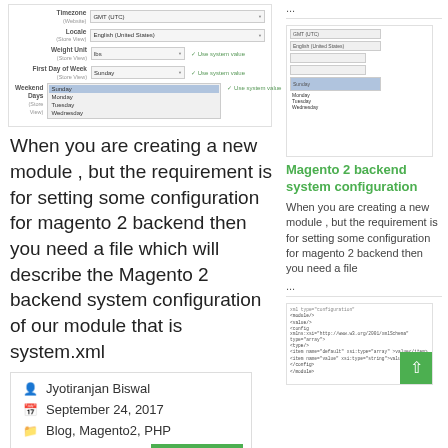[Figure (screenshot): Magento 2 backend configuration form screenshot showing Timezone, Locale, Weight Unit, First Day of Week, and Weekend Days fields]
When you are creating a new module , but the requirement is for setting some configuration for magento 2 backend then you need a file which will describe the Magento 2 backend system configuration of our module that is system.xml
Jyotiranjan Biswal
September 24, 2017
Blog, Magento2, PHP
No Comments
...
[Figure (screenshot): Small thumbnail of Magento 2 backend configuration form]
Magento 2 backend system configuration
When you are creating a new module , but the requirement is for setting some configuration for magento 2 backend then you need a file ...
[Figure (screenshot): Small thumbnail of code/XML configuration]